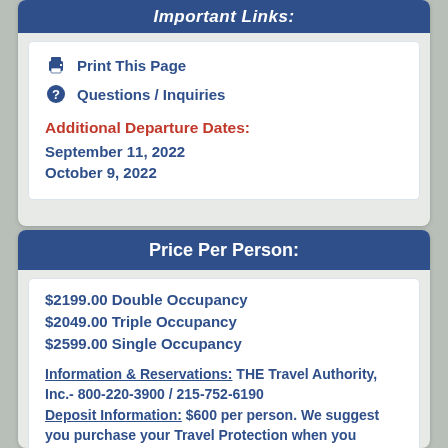Important Links:
Print This Page
Questions / Inquiries
Additional Departure Dates:
September 11, 2022
October 9, 2022
Price Per Person:
$2199.00 Double Occupancy
$2049.00 Triple Occupancy
$2599.00 Single Occupancy
Information & Reservations: THE Travel Authority, Inc.- 800-220-3900 / 215-752-6190
Deposit Information: $600 per person. We suggest you purchase your Travel Protection when you deposit your trip.